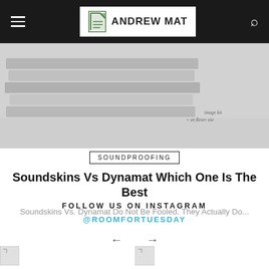ANDREW MAT [logo/nav bar]
[Figure (photo): Hero image showing soundproofing/acoustic material sheets in grey tones with faint watermark text]
SOUNDPROOFING
Soundskins Vs Dynamat Which One Is The Best
Soundskins Vs. Dynamat Do Not Be Fooled. They Actually Do...
← →
FOLLOW US ON INSTAGRAM
@ROOMFORTUESDAY
[Figure (photo): Instagram thumbnail image 1]
[Figure (photo): Instagram thumbnail image 2]